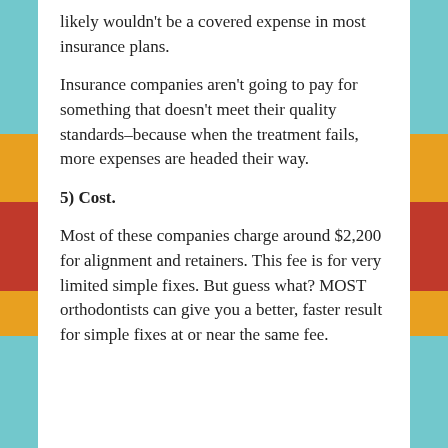likely wouldn't be a covered expense in most insurance plans.
Insurance companies aren't going to pay for something that doesn't meet their quality standards–because when the treatment fails, more expenses are headed their way.
5) Cost.
Most of these companies charge around $2,200 for alignment and retainers. This fee is for very limited simple fixes. But guess what? MOST orthodontists can give you a better, faster result for simple fixes at or near the same fee.